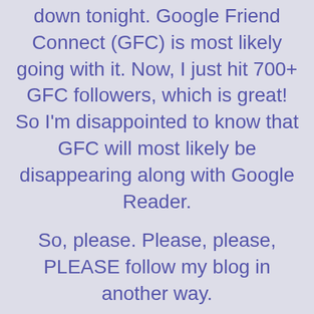down tonight. Google Friend Connect (GFC) is most likely going with it. Now, I just hit 700+ GFC followers, which is great! So I'm disappointed to know that GFC will most likely be disappearing along with Google Reader.
So, please. Please, please, PLEASE follow my blog in another way.
EMAIL/RSS
LINKY
GOOGLE PLUS